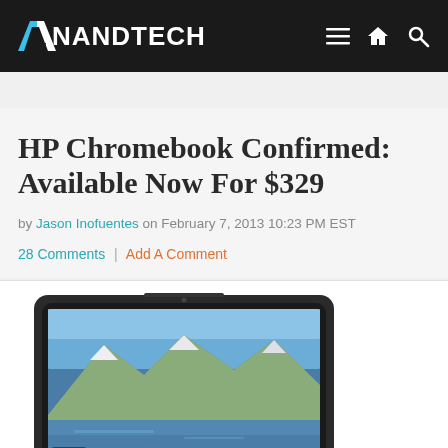AnandTech
Home > Laptops
HP Chromebook Confirmed: Available Now For $329
by Jason Inofuentes on February 7, 2013 10:23 PM EST
28 Comments | Add A Comment
[Figure (photo): HP Chromebook laptop showing a scenic mountain lake wallpaper on its display, angled view from the front]